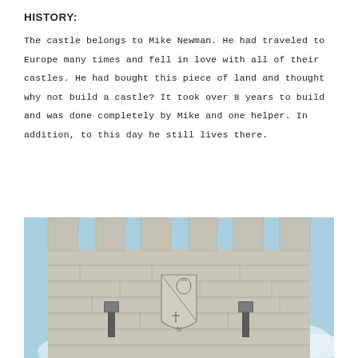HISTORY:
The castle belongs to Mike Newman. He had traveled to Europe many times and fell in love with all of their castles. He had bought this piece of land and thought why not build a castle? It took over 8 years to build and was done completely by Mike and one helper. In addition, to this day he still lives there.
[Figure (photo): Photograph of the top of a stone castle tower with battlements (merlons and crenels). A heraldic shield is carved into the stone face featuring a knight's head and a cross with the letter N. Two wall-mounted lanterns flank the shield. The sky behind is light blue with some clouds.]